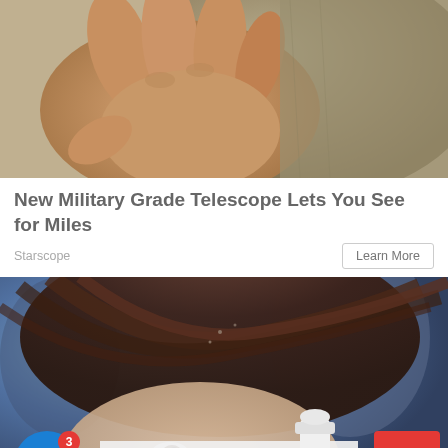[Figure (photo): Close-up photo of hands holding or touching a khaki/beige fabric or material]
New Military Grade Telescope Lets You See for Miles
Starscope
Learn More
[Figure (photo): Woman having her hair treated with a white bottle/applicator, hair spread out, blurred blue/grey background]